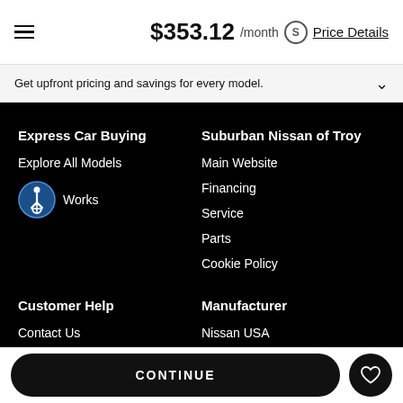$353.12 /month Price Details
Get upfront pricing and savings for every model.
Express Car Buying
Explore All Models
Works
Suburban Nissan of Troy
Main Website
Financing
Service
Parts
Cookie Policy
Customer Help
Contact Us
Manufacturer
Nissan USA
CONTINUE